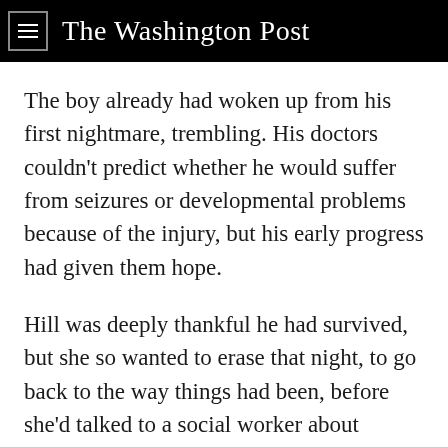The Washington Post
The boy already had woken up from his first nightmare, trembling. His doctors couldn't predict whether he would suffer from seizures or developmental problems because of the injury, but his early progress had given them hope.
Hill was deeply thankful he had survived, but she so wanted to erase that night, to go back to the way things had been, before she'd talked to a social worker about finding the children counselors.
She saw glimpses of that old life, too, even in their cramped, temporary home.